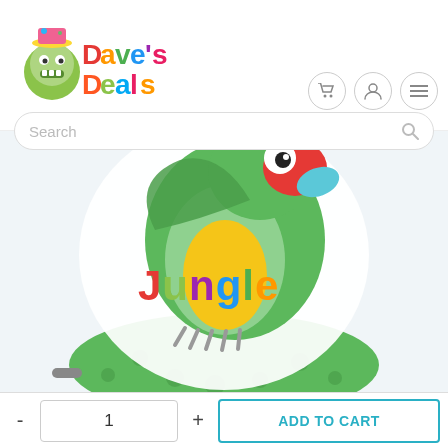[Figure (logo): Dave's Deals logo with cartoon green monster character and colorful multicolor text]
[Figure (other): Three circular navigation icon buttons: shopping cart, user/account, and hamburger menu]
Search
[Figure (photo): Product photo of a jungle-themed balloon/toy with a cartoon parrot and the word Jungle in multicolor text, on a green polka-dot base]
- 1 + ADD TO CART